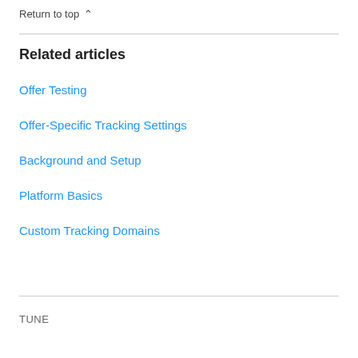Return to top ∧
Related articles
Offer Testing
Offer-Specific Tracking Settings
Background and Setup
Platform Basics
Custom Tracking Domains
TUNE